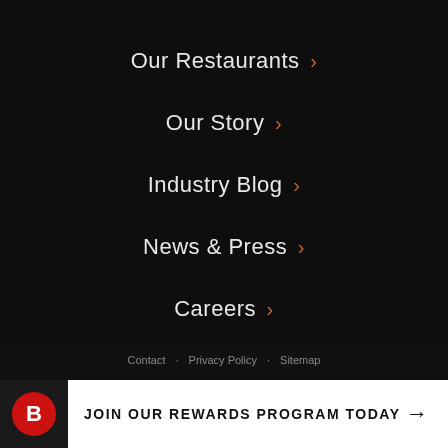Our Restaurants ›
Our Story ›
Industry Blog ›
News & Press ›
Careers ›
Contact Bottleneck ›
Contact · Privacy Policy · Sitemap
JOIN OUR REWARDS PROGRAM TODAY →